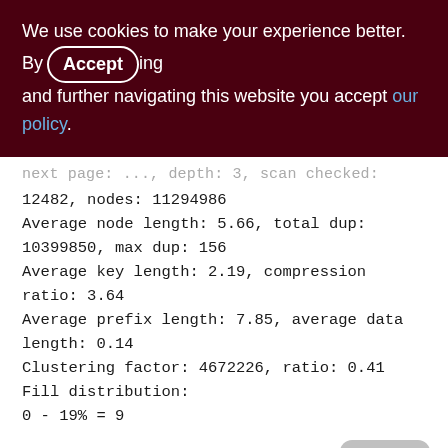We use cookies to make your experience better. By Accepting and further navigating this website you accept our policy.
...next page: ..., depth: 3, scan checked: 12482, nodes: 11294986
Average node length: 5.66, total dup: 10399850, max dup: 156
Average key length: 2.19, compression ratio: 3.64
Average prefix length: 7.85, average data length: 0.14
Clustering factor: 4672226, ratio: 0.41
Fill distribution:
0 - 19% = 9
20 - 39% = 0
40 - 59% = 6391